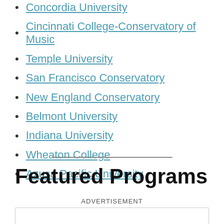Concordia University
Cincinnati College-Conservatory of Music
Temple University
San Francisco Conservatory
New England Conservatory
Belmont University
Indiana University
Wheaton College
Azusa Pacific University
Featured Programs
ADVERTISEMENT